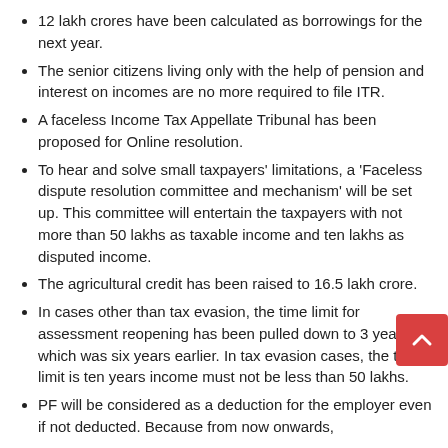12 lakh crores have been calculated as borrowings for the next year.
The senior citizens living only with the help of pension and interest on incomes are no more required to file ITR.
A faceless Income Tax Appellate Tribunal has been proposed for Online resolution.
To hear and solve small taxpayers' limitations, a 'Faceless dispute resolution committee and mechanism' will be set up. This committee will entertain the taxpayers with not more than 50 lakhs as taxable income and ten lakhs as disputed income.
The agricultural credit has been raised to 16.5 lakh crore.
In cases other than tax evasion, the time limit for assessment reopening has been pulled down to 3 years, which was six years earlier. In tax evasion cases, the time limit is ten years income must not be less than 50 lakhs.
PF will be considered as a deduction for the employer even if not deducted. Because from now onwards,